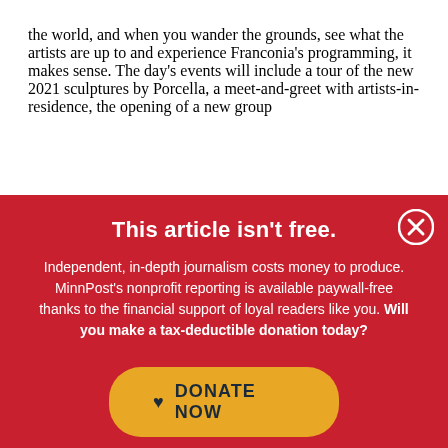the world, and when you wander the grounds, see what the artists are up to and experience Franconia's programming, it makes sense. The day's events will include a tour of the new 2021 sculptures by Porcella, a meet-and-greet with artists-in-residence, the opening of a new group
This article isn't free.
Independent, in-depth journalism costs money to produce. MinnPost's nonprofit reporting is available paywall-free thanks to the financial support of loyal readers like you. Will you make a tax-deductible donation today?
DONATE NOW